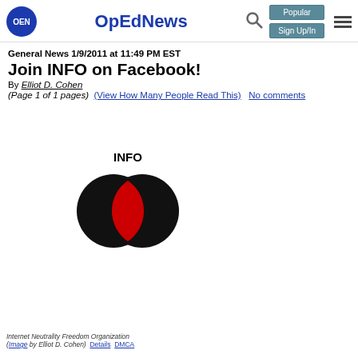OEN | OpEdNews | Popular | Sign Up/In
General News 1/9/2011 at 11:49 PM EST
Join INFO on Facebook!
By Elliot D. Cohen
(Page 1 of 1 pages)  (View How Many People Read This)  No comments
[Figure (illustration): INFO logo: Venn diagram with two overlapping black circles and a red lens-shaped intersection, with text 'INFO' above]
Internet Neutrality Freedom Organization
(Image by Elliot D. Cohen)  Details  DMCA